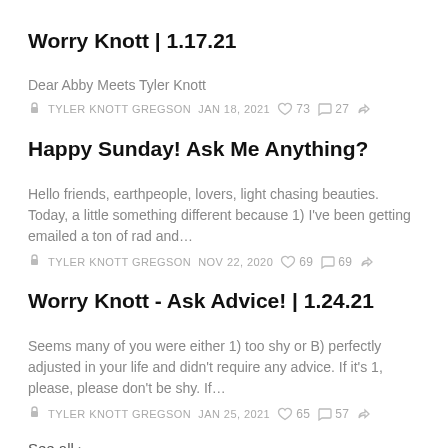Worry Knott | 1.17.21
Dear Abby Meets Tyler Knott
TYLER KNOTT GREGSON  JAN 18, 2021  ♡ 73  ○ 27  ⇧
Happy Sunday! Ask Me Anything?
Hello friends, earthpeople, lovers, light chasing beauties. Today, a little something different because 1) I've been getting emailed a ton of rad and…
TYLER KNOTT GREGSON  NOV 22, 2020  ♡ 69  ○ 69  ⇧
Worry Knott - Ask Advice! | 1.24.21
Seems many of you were either 1) too shy or B) perfectly adjusted in your life and didn't require any advice. If it's 1, please, please don't be shy. If…
TYLER KNOTT GREGSON  JAN 25, 2021  ♡ 65  ○ 57  ⇧
See all ›